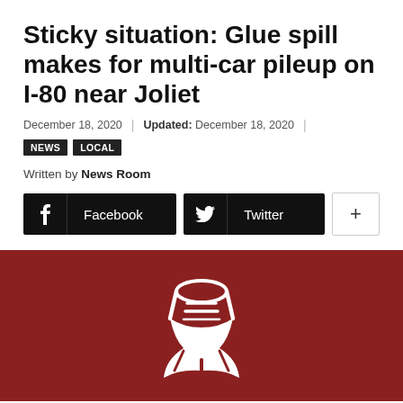Sticky situation: Glue spill makes for multi-car pileup on I-80 near Joliet
December 18, 2020 | Updated: December 18, 2020 |
NEWS  LOCAL
Written by News Room
[Figure (other): Social share buttons: Facebook, Twitter, and a plus button]
[Figure (illustration): Dark red/maroon background with a white newspaper/publication logo icon in the center bottom]